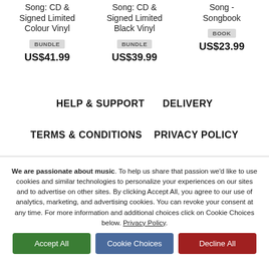Song: CD & Signed Limited Colour Vinyl
BUNDLE
US$41.99
Song: CD & Signed Limited Black Vinyl
BUNDLE
US$39.99
Song - Songbook
BOOK
US$23.99
HELP & SUPPORT
DELIVERY
TERMS & CONDITIONS
PRIVACY POLICY
We are passionate about music. To help us share that passion we'd like to use cookies and similar technologies to personalize your experiences on our sites and to advertise on other sites. By clicking Accept All, you agree to our use of analytics, marketing, and advertising cookies. You can revoke your consent at any time. For more information and additional choices click on Cookie Choices below. Privacy Policy.
Accept All
Cookie Choices
Decline All